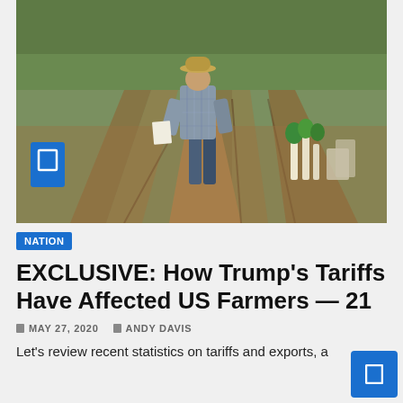[Figure (photo): A farmer wearing a hat and plaid shirt walks away from the camera down a row in an agricultural field, holding papers, with young plants visible on the right side of the image.]
NATION
EXCLUSIVE: How Trump's Tariffs Have Affected US Farmers — 21
MAY 27, 2020   ANDY DAVIS
Let's review recent statistics on tariffs and exports, a